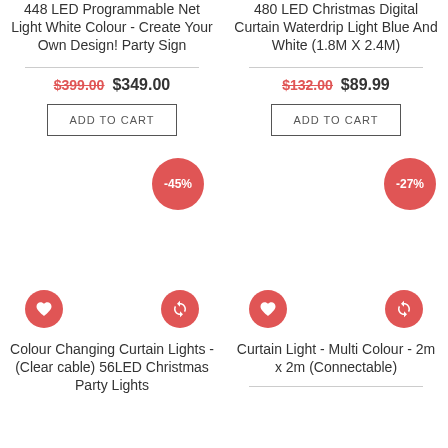448 LED Programmable Net Light White Colour - Create Your Own Design! Party Sign
$399.00  $349.00
ADD TO CART
480 LED Christmas Digital Curtain Waterdrip Light Blue And White (1.8M X 2.4M)
$132.00  $89.99
ADD TO CART
[Figure (infographic): -45% discount badge circle]
[Figure (infographic): -27% discount badge circle]
[Figure (infographic): Heart wishlist icon and refresh/compare icon for Colour Changing Curtain Lights product]
Colour Changing Curtain Lights - (Clear cable) 56LED Christmas Party Lights
[Figure (infographic): Heart wishlist icon and refresh/compare icon for Curtain Light - Multi Colour product]
Curtain Light - Multi Colour - 2m x 2m (Connectable)
Divider line